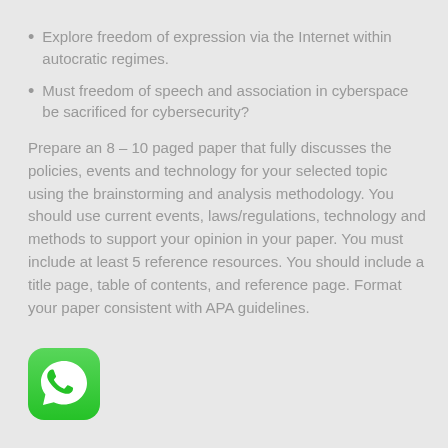Explore freedom of expression via the Internet within autocratic regimes.
Must freedom of speech and association in cyberspace be sacrificed for cybersecurity?
Prepare an 8 – 10 paged paper that fully discusses the policies, events and technology for your selected topic using the brainstorming and analysis methodology. You should use current events, laws/regulations, technology and methods to support your opinion in your paper. You must include at least 5 reference resources. You should include a title page, table of contents, and reference page. Format your paper consistent with APA guidelines.
[Figure (logo): WhatsApp app icon — green rounded square with white phone handset inside speech bubble]